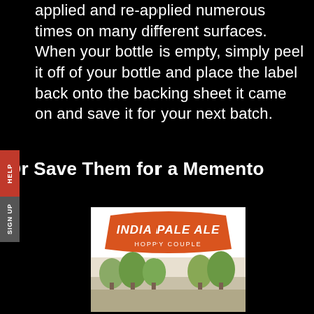applied and re-applied numerous times on many different surfaces.  When your bottle is empty, simply peel it off of your bottle and place the label back onto the backing sheet it came on and save it for your next batch.
Or Save Them for a Memento
[Figure (illustration): A beer bottle label for 'India Pale Ale - Hoppy Couple' with an orange/red curved banner at top and a landscape scene below]